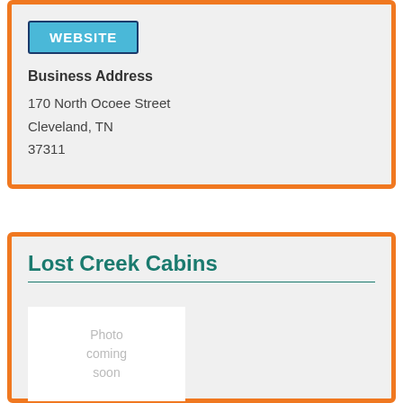[Figure (other): WEBSITE button — blue background with white bold text and dark blue border]
Business Address
170 North Ocoee Street
Cleveland, TN
37311
Lost Creek Cabins
[Figure (photo): Photo placeholder box with text 'Photo coming soon']